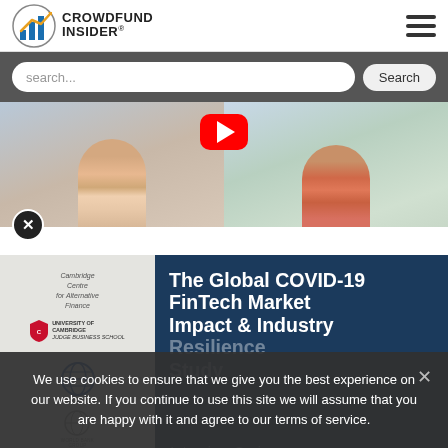[Figure (logo): Crowdfund Insider logo with bar chart icon]
[Figure (screenshot): Video thumbnail showing two people in a video call, with red YouTube play button overlay]
[Figure (infographic): The Global COVID-19 FinTech Market Impact & Industry Resilience Study Interview Series card from Cambridge Centre for Alternative Finance, University of Cambridge Judge Business School]
We use cookies to ensure that we give you the best experience on our website. If you continue to use this site we will assume that you are happy with it and agree to our terms of service.